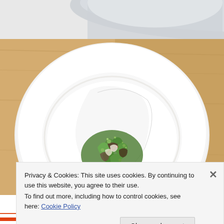[Figure (photo): Overhead view of a fine dining dish on a white plate — greens, mushrooms, and delicate garnishes arranged in the center of a large white round plate on a wooden table. A partial view of another white dish is visible at the top of the image.]
Privacy & Cookies: This site uses cookies. By continuing to use this website, you agree to their use.
To find out more, including how to control cookies, see here: Cookie Policy
Close and accept